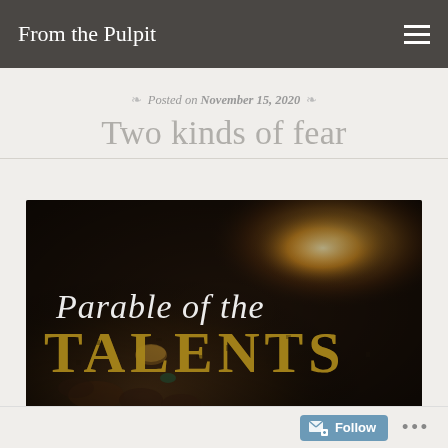From the Pulpit
Posted on November 15, 2020
Two kinds of fear
[Figure (photo): Dark background photo of hands holding coins with text overlay reading 'Parable of the TALENTS' in decorative script and distressed block lettering, with a candle light in the background.]
Follow